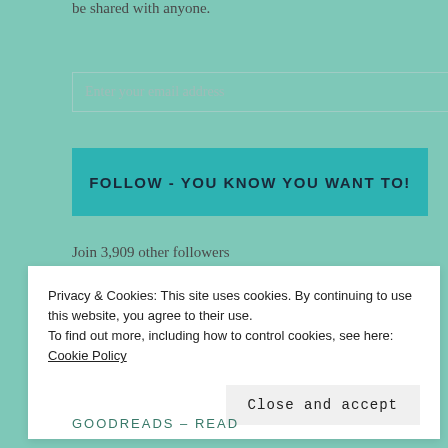be shared with anyone.
Enter your email address
FOLLOW - YOU KNOW YOU WANT TO!
Join 3,909 other followers
[Figure (logo): WordPress follow button: Follow Life and Other Disasters]
LIFE AND OTHER DISASTERS FACEBOOK
Privacy & Cookies: This site uses cookies. By continuing to use this website, you agree to their use.
To find out more, including how to control cookies, see here: Cookie Policy
Close and accept
GOODREADS – READ